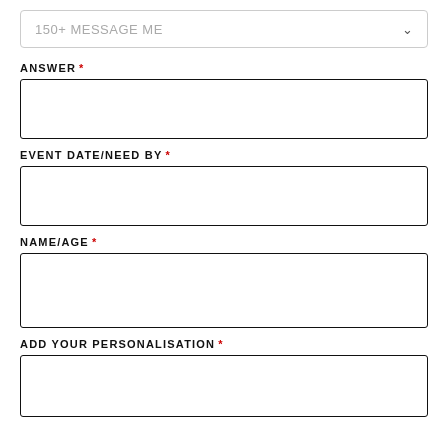150+ MESSAGE ME
ANSWER *
EVENT DATE/NEED BY *
NAME/AGE *
ADD YOUR PERSONALISATION *